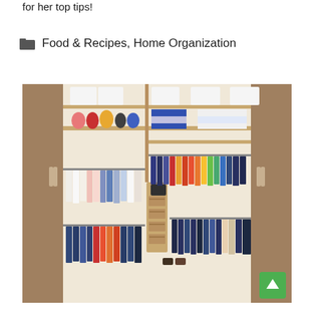for her top tips!
Food & Recipes, Home Organization
[Figure (photo): An organized walk-in closet with wooden shelving, hanging clothes sorted by color, drawer units in the center, storage boxes on upper shelves, and mirrored sliding doors on the sides. A green scroll-to-top button appears in the bottom right corner.]